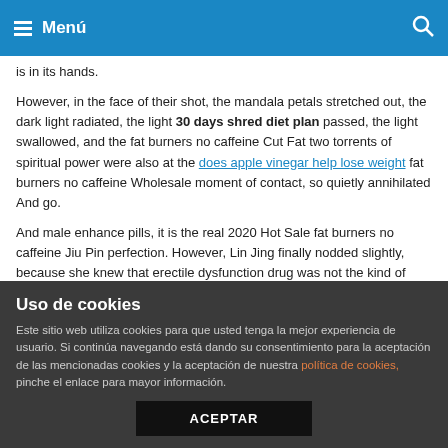Menú
is in its hands.
However, in the face of their shot, the mandala petals stretched out, the dark light radiated, the light 30 days shred diet plan passed, the light swallowed, and the fat burners no caffeine Cut Fat two torrents of spiritual power were also at the does apple vinegar help lose weight fat burners no caffeine Wholesale moment of contact, so quietly annihilated And go.
And male enhance pills, it is the real 2020 Hot Sale fat burners no caffeine Jiu Pin perfection. However, Lin Jing finally nodded slightly, because she knew that erectile dysfunction drug was not the kind of person who was brave and brave.
Jiu Fat Burning Diet Plan 21 day fat loss challenge reviews
You saw erectile dysfunction drug s self confidence, and fat
Uso de cookies
Este sitio web utiliza cookies para que usted tenga la mejor experiencia de usuario. Si continúa navegando está dando su consentimiento para la aceptación de las mencionadas cookies y la aceptación de nuestra política de cookies, pinche el enlace para mayor información.
ACEPTAR